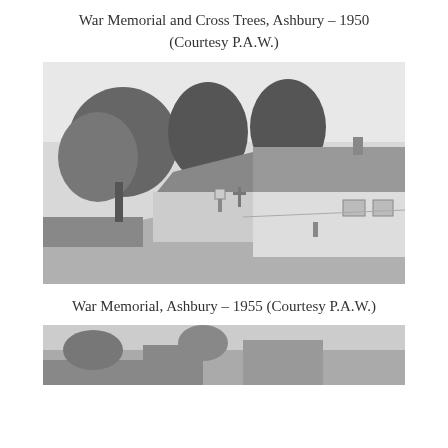War Memorial and Cross Trees, Ashbury – 1950 (Courtesy P.A.W.)
[Figure (photo): Black and white photograph of a village road with trees, a thatched cottage, and a war memorial cross visible, taken in Ashbury circa 1950.]
War Memorial, Ashbury – 1955 (Courtesy P.A.W.)
[Figure (photo): Black and white photograph partially visible at bottom of page, showing a village scene in Ashbury circa 1955.]